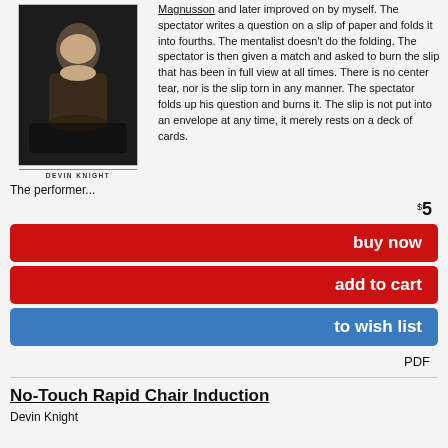[Figure (photo): Book cover image showing a woman at a table, dark background. Caption reads 'DEVIN KNIGHT' below the image.]
Magnusson and later improved on by myself. The spectator writes a question on a slip of paper and folds it into fourths. The mentalist doesn't do the folding. The spectator is then given a match and asked to burn the slip that has been in full view at all times. There is no center tear, nor is the slip torn in any manner. The spectator folds up his question and burns it. The slip is not put into an envelope at any time, it merely rests on a deck of cards.
The performer...
$5
buy now
add to cart
to wish list
PDF
No-Touch Rapid Chair Induction
Devin Knight